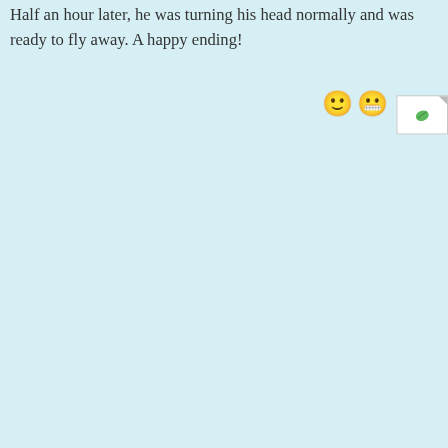Half an hour later, he was turning his head normally and was ready to fly away. A happy ending!
[Figure (illustration): Two emoji faces (slightly smiling and grimacing) and a file icon with a green leaf, partially visible on the right side of the page]
Share this:
Twitter
Email
Reddit
Tumblr
Facebook (partially visible)
LinkedIn
Loading...